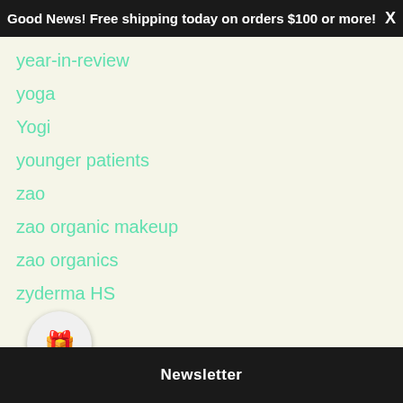Good News! Free shipping today on orders $100 or more! X
year-in-review
yoga
Yogi
younger patients
zao
zao organic makeup
zao organics
zyderma HS
Newsletter